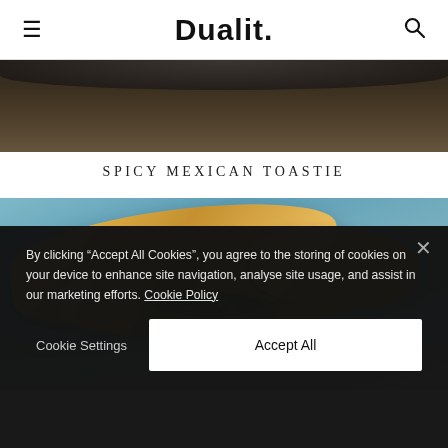Dualit.
[Figure (photo): Partial view of a dark food dish from above, bottom portion of a prior recipe image]
SPICY MEXICAN TOASTIE
[Figure (photo): A golden toasted sandwich (toastie) with herbs/microgreens on a light blue background]
By clicking “Accept All Cookies”, you agree to the storing of cookies on your device to enhance site navigation, analyse site usage, and assist in our marketing efforts. Cookie Policy
Cookie Settings
Accept All